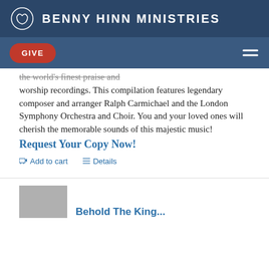BENNY HINN MINISTRIES
GIVE
the world's finest praise and worship recordings. This compilation features legendary composer and arranger Ralph Carmichael and the London Symphony Orchestra and Choir. You and your loved ones will cherish the memorable sounds of this majestic music! Request Your Copy Now!
Add to cart   Details
Behold The King...